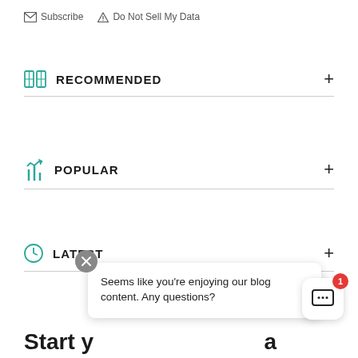Subscribe  Do Not Sell My Data
RECOMMENDED
POPULAR
LATEST
Seems like you're enjoying our blog content. Any questions?
Start y...a